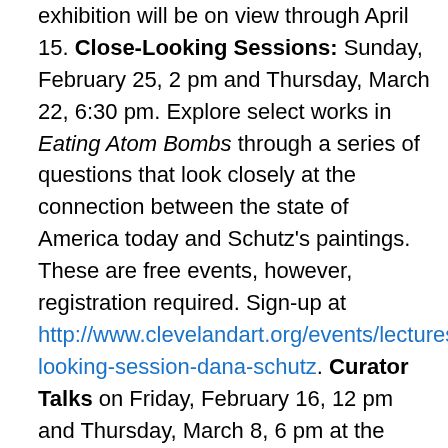exhibition will be on view through April 15. Close-Looking Sessions: Sunday, February 25, 2 pm and Thursday, March 22, 6:30 pm. Explore select works in Eating Atom Bombs through a series of questions that look closely at the connection between the state of America today and Schutz's paintings. These are free events, however, registration required. Sign-up at http://www.clevelandart.org/events/lectures/close-looking-session-dana-schutz. Curator Talks on Friday, February 16, 12 pm and Thursday, March 8, 6 pm at the Transformer Station. The Cleveland Museum of Art Curator of Contemporary Art, Reto Thüring, will lead a tour of the exhibition. The Curator Talks are free events, no registration required. Visiting Hours: Wednesday: 11am to 5pm. Thursday: 11am to 8pm. Friday: 11am to 5pm. Saturday: 11am to 5pm. Sunday: 11am to 5pm. Transformer Station 1460 West 29th Street